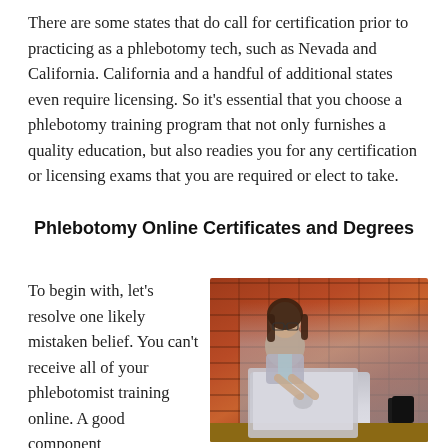There are some states that do call for certification prior to practicing as a phlebotomy tech, such as Nevada and California. California and a handful of additional states even require licensing. So it's essential that you choose a phlebotomy training program that not only furnishes a quality education, but also readies you for any certification or licensing exams that you are required or elect to take.
Phlebotomy Online Certificates and Degrees
To begin with, let's resolve one likely mistaken belief. You can't receive all of your phlebotomist training online. A good component
[Figure (photo): A woman with glasses and long dark hair sits at a wooden desk working on a silver laptop. She is wearing a light grey cardigan over a light blue shirt. The background shows a brick wall. A dark coffee mug and some papers are visible on the desk.]